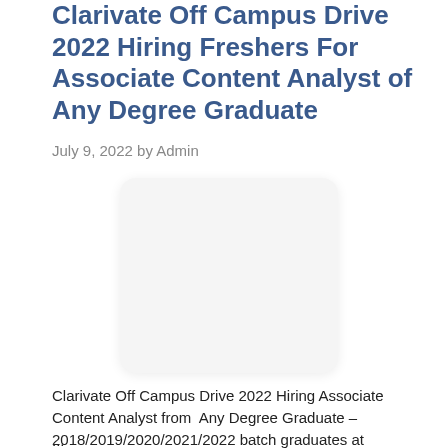Clarivate Off Campus Drive 2022 Hiring Freshers For Associate Content Analyst of Any Degree Graduate
July 9, 2022 by Admin
[Figure (other): Blank white rounded rectangle placeholder image]
Clarivate Off Campus Drive 2022 Hiring Associate Content Analyst from Any Degree Graduate – 2018/2019/2020/2021/2022 batch graduates at ...